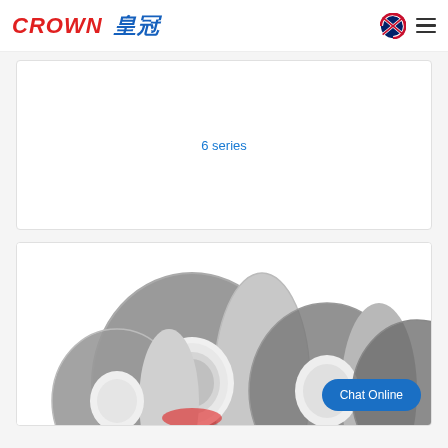CROWN 皇冠
6 series
[Figure (photo): Several rolls of industrial double-sided foam tape arranged together, showing dark foam tape on white liner rolls of varying sizes]
Chat Online